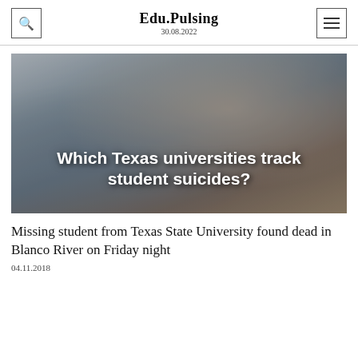Edu.Pulsing
30.08.2022
[Figure (photo): Blurred campus building background with white bold text overlay reading 'Which Texas universities track student suicides?']
Missing student from Texas State University found dead in Blanco River on Friday night
04.11.2018